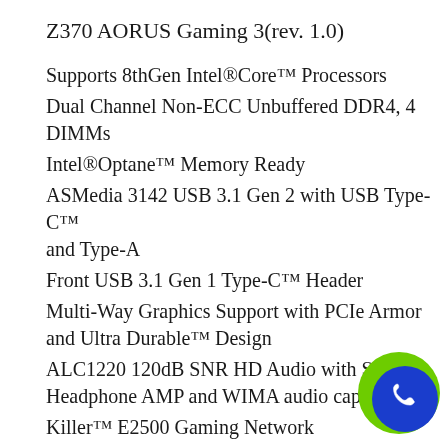Z370 AORUS Gaming 3(rev. 1.0)
Supports 8thGen Intel®Core™ Processors
Dual Channel Non-ECC Unbuffered DDR4, 4 DIMMs
Intel®Optane™ Memory Ready
ASMedia 3142 USB 3.1 Gen 2 with USB Type-C™ and Type-A
Front USB 3.1 Gen 1 Type-C™ Header
Multi-Way Graphics Support with PCIe Armor and Ultra Durable™ Design
ALC1220 120dB SNR HD Audio with Smart Headphone AMP and WIMA audio capacitors
Killer™ E2500 Gaming Network
RGB FUSION with Multi-Zone Digital LED Li…
Show design, support digital LED & RGB LED…
Smart Fan 5 features Multiple Temperature